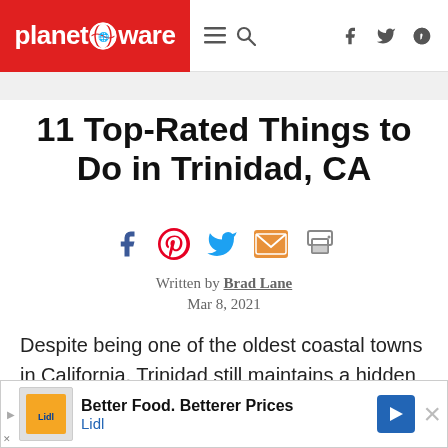planetware
11 Top-Rated Things to Do in Trinidad, CA
[Figure (other): Social share icons row: Facebook, Pinterest, Twitter, Email, Print]
Written by Brad Lane
Mar 8, 2021
Despite being one of the oldest coastal towns in California, Trinidad still maintains a hidden gem quality... secret, but...rnia...
[Figure (other): Lidl advertisement banner: Better Food. Betterer Prices - Lidl]